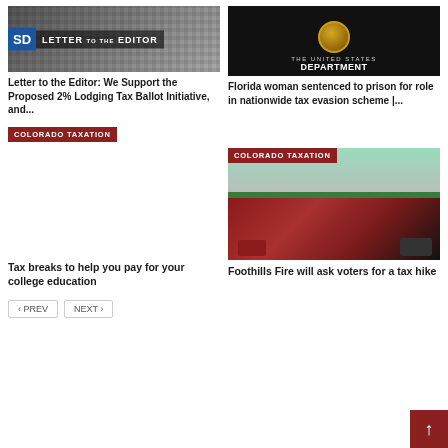[Figure (photo): Letter to the Editor keyboard image with SD logo badge and LETTER TO THE EDITOR text]
Letter to the Editor: We Support the Proposed 2% Lodging Tax Ballot Initiative, and...
[Figure (photo): United States Department seal on black background with THE UNITED STATES DEPARTMENT text]
Florida woman sentenced to prison for role in nationwide tax evasion scheme |...
[Figure (photo): Red commercial building with cars in parking lot, overcast sky]
COLORADO TAXATION
Tax breaks to help you pay for your college education
COLORADO TAXATION
Foothills Fire will ask voters for a tax hike
< PREV
NEXT >